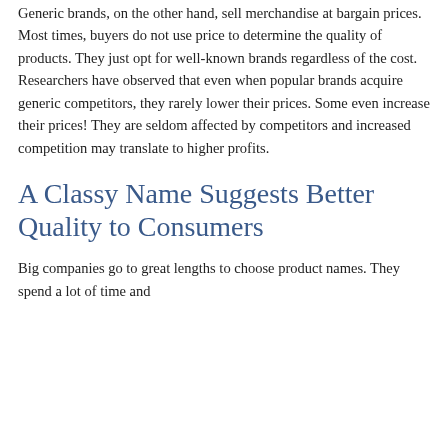Generic brands, on the other hand, sell merchandise at bargain prices. Most times, buyers do not use price to determine the quality of products. They just opt for well-known brands regardless of the cost. Researchers have observed that even when popular brands acquire generic competitors, they rarely lower their prices. Some even increase their prices! They are seldom affected by competitors and increased competition may translate to higher profits.
A Classy Name Suggests Better Quality to Consumers
Big companies go to great lengths to choose product names. They spend a lot of time and